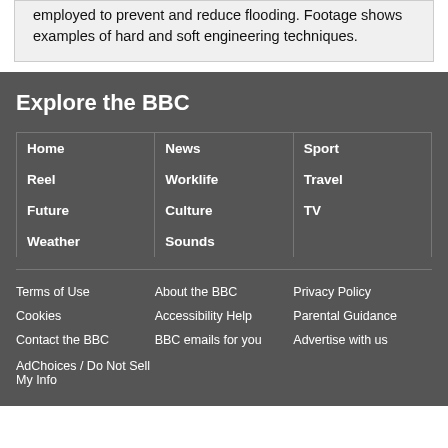employed to prevent and reduce flooding. Footage shows examples of hard and soft engineering techniques.
Explore the BBC
Home
News
Sport
Reel
Worklife
Travel
Future
Culture
TV
Weather
Sounds
Terms of Use | About the BBC | Privacy Policy | Cookies | Accessibility Help | Parental Guidance | Contact the BBC | BBC emails for you | Advertise with us | AdChoices / Do Not Sell My Info